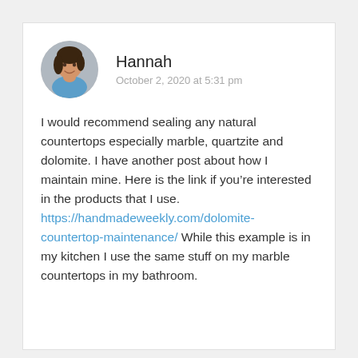[Figure (photo): Circular avatar photo of a woman named Hannah, smiling, with dark hair, wearing a teal/blue top]
Hannah
October 2, 2020 at 5:31 pm
I would recommend sealing any natural countertops especially marble, quartzite and dolomite. I have another post about how I maintain mine. Here is the link if you’re interested in the products that I use. https://handmadeweekly.com/dolomite-countertop-maintenance/ While this example is in my kitchen I use the same stuff on my marble countertops in my bathroom.